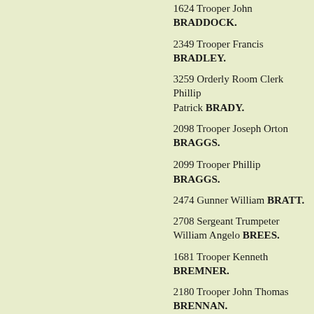1624 Trooper John BRADDOCK.
2349 Trooper Francis BRADLEY.
3259 Orderly Room Clerk Phillip Patrick BRADY.
2098 Trooper Joseph Orton BRAGGS.
2099 Trooper Phillip BRAGGS.
2474 Gunner William BRATT.
2708 Sergeant Trumpeter William Angelo BREES.
1681 Trooper Kenneth BREMNER.
2180 Trooper John Thomas BRENNAN.
3550 Trooper Frank Albert BRIEN.
1590 Lance Corporal John Augustus BRIMS.
1685 Trooper Charles